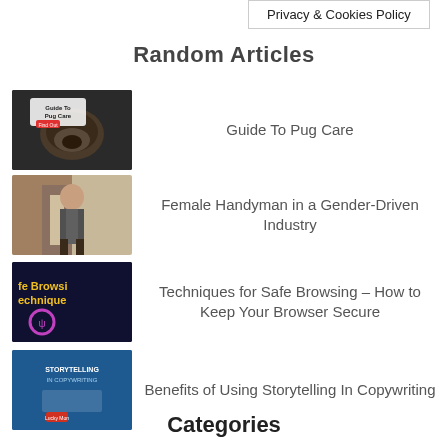Privacy & Cookies Policy
Random Articles
[Figure (photo): Thumbnail image: Guide To Pug Care book cover with a black pug]
Guide To Pug Care
[Figure (photo): Thumbnail image: Female handyman/woman in workwear standing in a doorway]
Female Handyman in a Gender-Driven Industry
[Figure (photo): Thumbnail image: Safe Browsing Techniques - dark background with text]
Techniques for Safe Browsing – How to Keep Your Browser Secure
[Figure (photo): Thumbnail image: Storytelling in Copywriting book cover, blue background]
Benefits of Using Storytelling In Copywriting
[Figure (photo): Thumbnail image: Junk removal scene with cluttered items]
Junk Removal – Why It Is Important to Approach a Professional ?
Categories